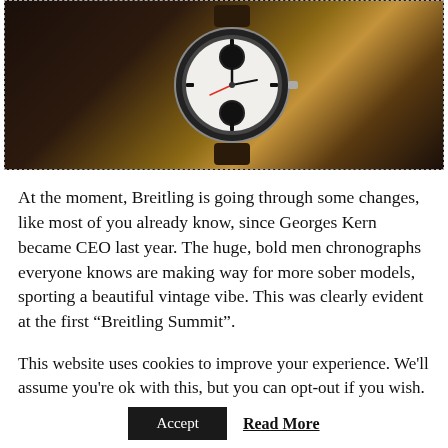[Figure (photo): Close-up photograph of a Breitling chronograph watch with white dial, black sub-dials, and dark leather strap, resting on a wooden surface with watch parts visible in the background.]
At the moment, Breitling is going through some changes, like most of you already know, since Georges Kern became CEO last year. The huge, bold men chronographs everyone knows are making way for more sober models, sporting a beautiful vintage vibe. This was clearly evident at the first "Breitling Summit".
This website uses cookies to improve your experience. We'll assume you're ok with this, but you can opt-out if you wish.